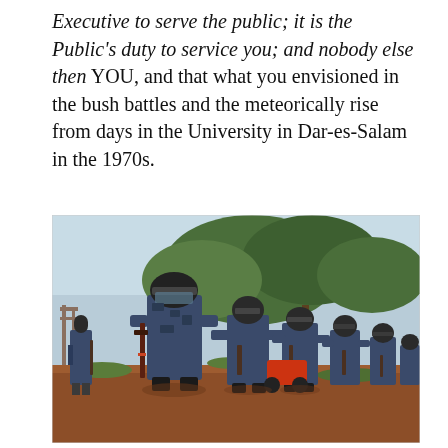Executive to serve the public; it is the Public's duty to service you; and nobody else then YOU, and that what you envisioned in the bush battles and the meteorically rise from days in the University in Dar-es-Salam in the 1970s.
[Figure (photo): A line of armed police officers in blue camouflage uniforms and riot gear standing outdoors on red earth with trees in the background. The officer in the foreground wears a helmet with visor and holds a rifle.]